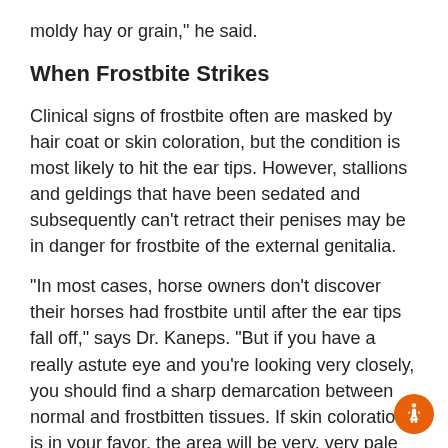moldy hay or grain," he said.
When Frostbite Strikes
Clinical signs of frostbite often are masked by hair coat or skin coloration, but the condition is most likely to hit the ear tips. However, stallions and geldings that have been sedated and subsequently can't retract their penises may be in danger for frostbite of the external genitalia.
"In most cases, horse owners don't discover their horses had frostbite until after the ear tips fall off," says Dr. Kaneps. "But if you have a really astute eye and you're looking very closely, you should find a sharp demarcation between normal and frostbitten tissues. If skin coloration is in your favor, the area will be very, very pale compared to the normal tissue around it. As the situation progresses, the affected area becomes swollen because of the edema of the damaged tissue,